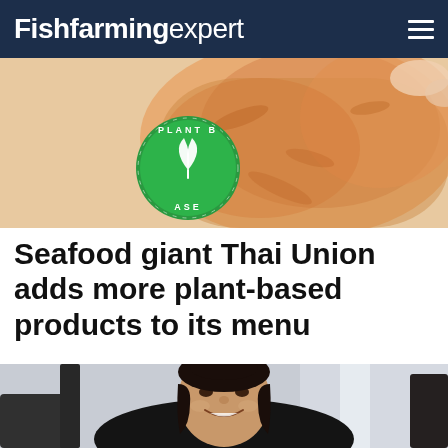Fishfarming expert
[Figure (photo): Plant-based seafood product with a green circular 'Plant Based' badge/stamp on top of what appears to be a salmon fillet or similar seafood product]
Seafood giant Thai Union adds more plant-based products to its menu
[Figure (photo): A smiling woman with dark hair pulled back, wearing a black turtleneck sweater with a necklace, photographed indoors near a window]